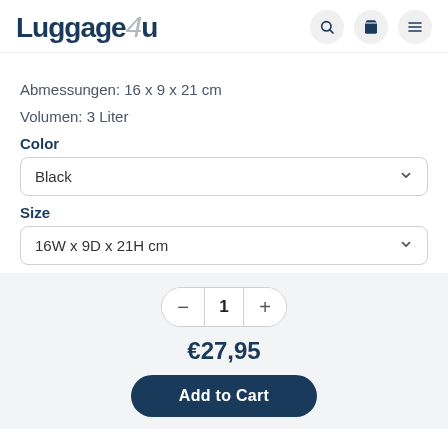Luggage4u
Abmessungen: 16 x 9 x 21 cm
Volumen: 3 Liter
Color
Black
Size
16W x 9D x 21H cm
1
€27,95
Add to Cart